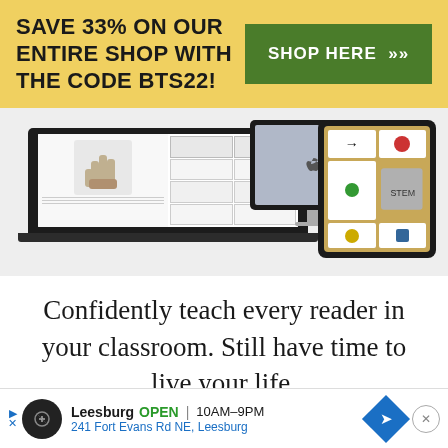SAVE 33% ON OUR ENTIRE SHOP WITH THE CODE BTS22!
[Figure (screenshot): Promotional banner with green 'SHOP HERE >>' button on yellow background, followed by device images (laptop, monitor, tablet) showing educational worksheets and card materials]
Confidently teach every reader in your classroom. Still have time to live your life.
Leesburg OPEN 10AM–9PM 241 Fort Evans Rd NE, Leesburg